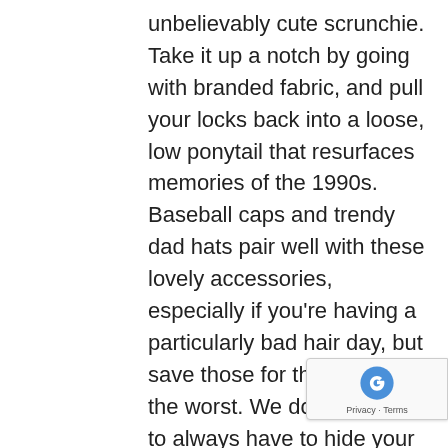unbelievably cute scrunchie. Take it up a notch by going with branded fabric, and pull your locks back into a loose, low ponytail that resurfaces memories of the 1990s. Baseball caps and trendy dad hats pair well with these lovely accessories, especially if you're having a particularly bad hair day, but save those for the worst of the worst. We don't want you to always have to hide your gorgeous natural look under a hat, so have our stylists reduce the thickness of your hair by adding layers and using thinning scissors at the end of your cut. A new shag look will help you find your own style in donning a nostalgically funky headband or bandana to tame flyaways and bring out your inner hippie.